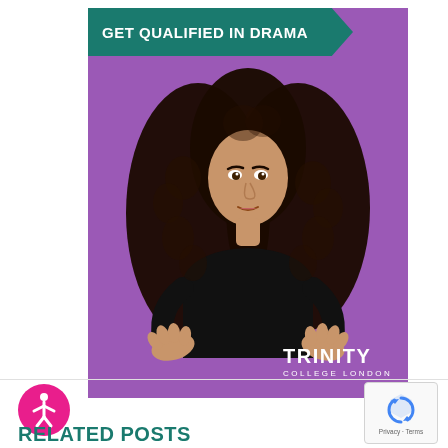[Figure (illustration): Trinity College London promotional poster for drama qualification. Purple background with a young woman with long curly hair wearing a black t-shirt, hands extended forward in a dramatic gesture. A teal/dark green chevron banner at the top reads 'GET QUALIFIED IN DRAMA'. The Trinity College London logo appears at the bottom right of the poster in white text.]
[Figure (logo): Accessibility icon - pink circle with white stick figure person in universal accessibility pose]
[Figure (other): reCAPTCHA widget showing the reCAPTCHA logo with arrows, and 'Privacy - Terms' text below]
RELATED POSTS